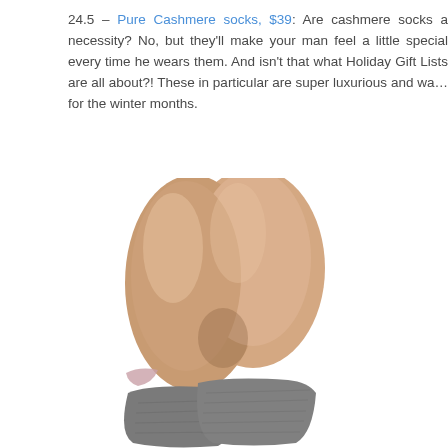24.5 – Pure Cashmere socks, $39: Are cashmere socks a necessity? No, but they'll make your man feel a little special every time he wears them. And isn't that what Holiday Gift Lists are all about?! These in particular are super luxurious and warm for the winter months.
[Figure (photo): Photo of a person's legs wearing grey cashmere socks, legs crossed and bent, shot against a white background.]